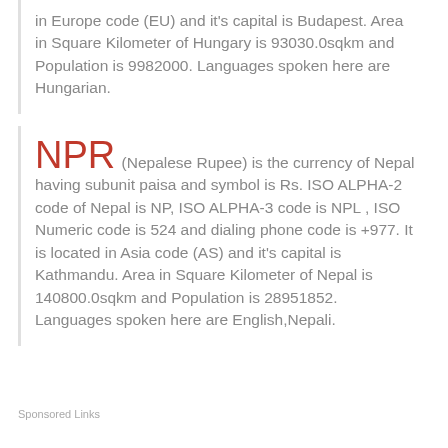in Europe code (EU) and it's capital is Budapest. Area in Square Kilometer of Hungary is 93030.0sqkm and Population is 9982000. Languages spoken here are Hungarian.
NPR (Nepalese Rupee) is the currency of Nepal having subunit paisa and symbol is Rs. ISO ALPHA-2 code of Nepal is NP, ISO ALPHA-3 code is NPL , ISO Numeric code is 524 and dialing phone code is +977. It is located in Asia code (AS) and it's capital is Kathmandu. Area in Square Kilometer of Nepal is 140800.0sqkm and Population is 28951852. Languages spoken here are English,Nepali.
Sponsored Links